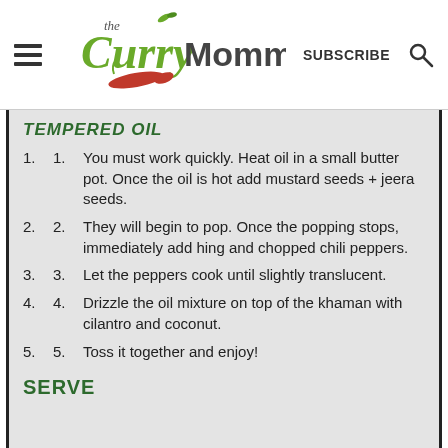[Figure (logo): The Curry Mommy website logo with hamburger menu, script logo text, SUBSCRIBE link, and search icon]
TEMPERED OIL
You must work quickly. Heat oil in a small butter pot. Once the oil is hot add mustard seeds + jeera seeds.
They will begin to pop. Once the popping stops, immediately add hing and chopped chili peppers.
Let the peppers cook until slightly translucent.
Drizzle the oil mixture on top of the khaman with cilantro and coconut.
Toss it together and enjoy!
SERVE